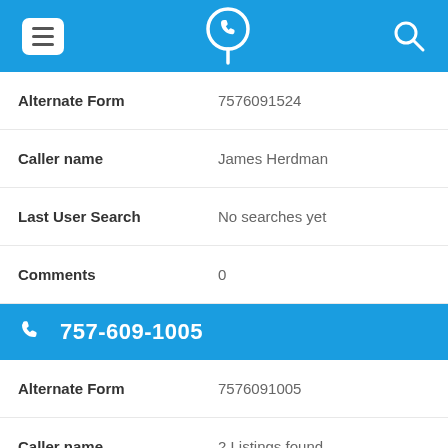App header with menu, phone location logo, and search icons
| Field | Value |
| --- | --- |
| Alternate Form | 7576091524 |
| Caller name | James Herdman |
| Last User Search | No searches yet |
| Comments | 0 |
757-609-1005
| Field | Value |
| --- | --- |
| Alternate Form | 7576091005 |
| Caller name | 2 Listings found |
| Last User Search | No searches yet |